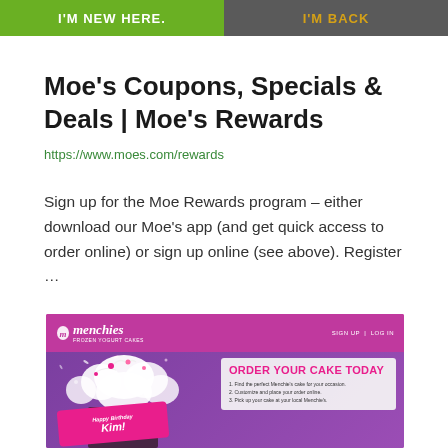[Figure (screenshot): Navigation bar with two buttons: 'I'M NEW HERE.' on green background and 'I'M BACK' on dark gray background with gold text]
Moe's Coupons, Specials & Deals | Moe's Rewards
https://www.moes.com/rewards
Sign up for the Moe Rewards program – either download our Moe's app (and get quick access to order online) or sign up online (see above). Register …
[Figure (screenshot): Menchie's Frozen Yogurt Cakes website screenshot showing a pink/purple header with the Menchie's logo and sign up/log in links, and a banner section with 'ORDER YOUR CAKE TODAY' text and a birthday cake promotion featuring a girl holding a cake with 'Happy Birthday Kim!' banner]